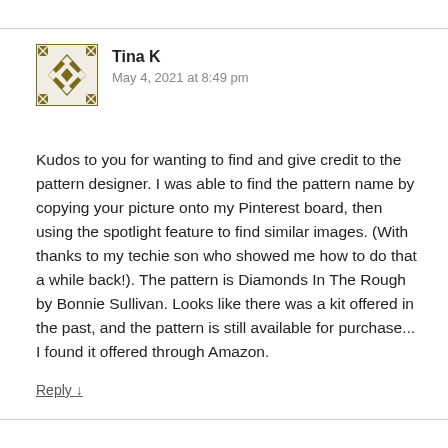[Figure (illustration): Decorative avatar icon with a geometric diamond/quilt pattern in olive/gold and white colors]
Tina K
May 4, 2021 at 8:49 pm
Kudos to you for wanting to find and give credit to the pattern designer. I was able to find the pattern name by copying your picture onto my Pinterest board, then using the spotlight feature to find similar images. (With thanks to my techie son who showed me how to do that a while back!). The pattern is Diamonds In The Rough by Bonnie Sullivan. Looks like there was a kit offered in the past, and the pattern is still available for purchase... I found it offered through Amazon.
Reply ↓